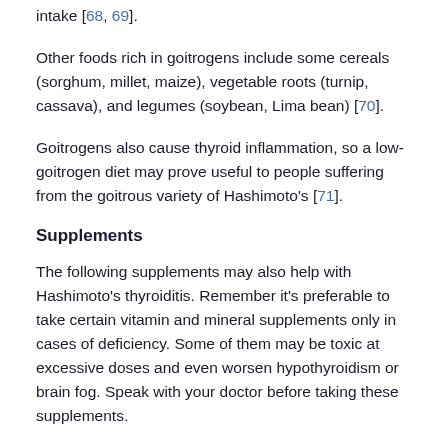intake [68, 69].
Other foods rich in goitrogens include some cereals (sorghum, millet, maize), vegetable roots (turnip, cassava), and legumes (soybean, Lima bean) [70].
Goitrogens also cause thyroid inflammation, so a low-goitrogen diet may prove useful to people suffering from the goitrous variety of Hashimoto's [71].
Supplements
The following supplements may also help with Hashimoto's thyroiditis. Remember it's preferable to take certain vitamin and mineral supplements only in cases of deficiency. Some of them may be toxic at excessive doses and even worsen hypothyroidism or brain fog. Speak with your doctor before taking these supplements.